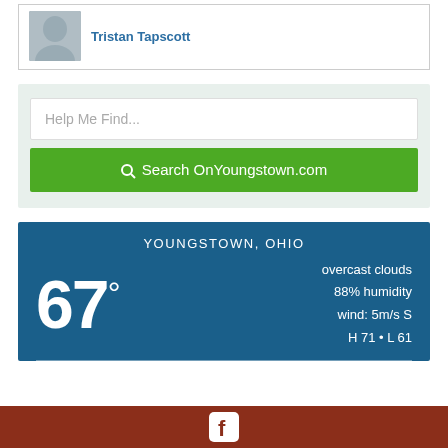[Figure (photo): Profile photo of Tristan Tapscott, partially cropped headshot showing a man in a suit]
Tristan Tapscott
Help Me Find...
Search OnYoungstown.com
YOUNGSTOWN, OHIO
67°
overcast clouds
88% humidity
wind: 5m/s S
H 71 • L 61
[Figure (logo): Facebook logo icon in white on dark red footer background]